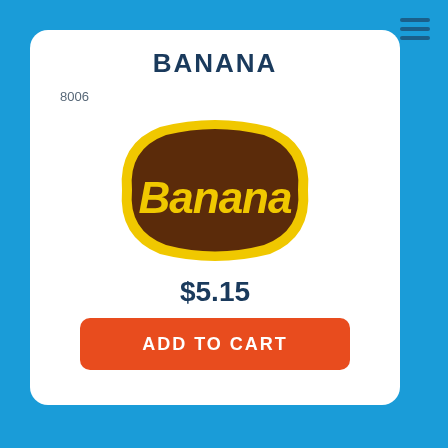BANANA
8006
[Figure (logo): Banana brand logo: dark brown shield/badge shape with yellow border, yellow bold italic text 'Banana' in the center]
$5.15
ADD TO CART